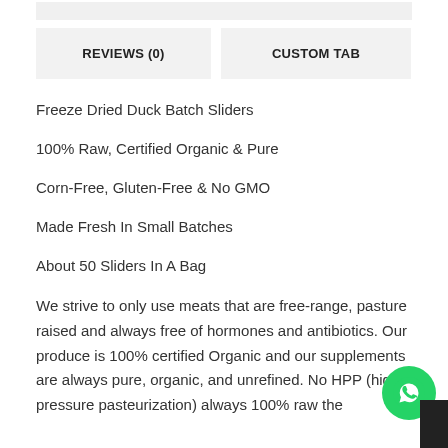REVIEWS (0)
CUSTOM TAB
Freeze Dried Duck Batch Sliders
100% Raw, Certified Organic & Pure
Corn-Free, Gluten-Free & No GMO
Made Fresh In Small Batches
About 50 Sliders In A Bag
We strive to only use meats that are free-range, pasture raised and always free of hormones and antibiotics. Our produce is 100% certified Organic and our supplements are always pure, organic, and unrefined. No HPP (high pressure pasteurization) always 100% raw the